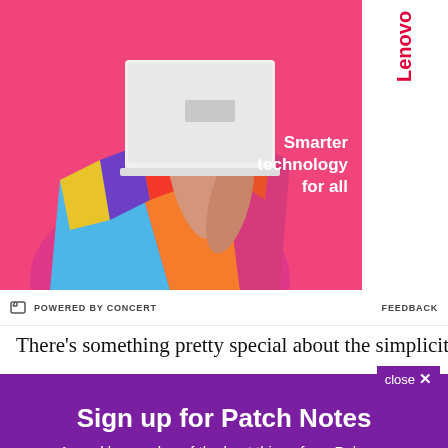[Figure (photo): Lenovo advertisement banner showing a person holding a white laptop on a pink/magenta background with the Lenovo logo and tagline 'Smarter technology for all']
POWERED BY CONCERT
FEEDBACK
There's something pretty special about the simplicity
close ✕
Sign up for Patch Notes
A weekly roundup of the best things from Polygon
Email (required)
SUBSCRIBE
By submitting your email, you agree to our Terms and Privacy Notice. You can opt out at any time. This site is protected by reCAPTCHA and the Google Privacy Policy and Terms of Service apply.